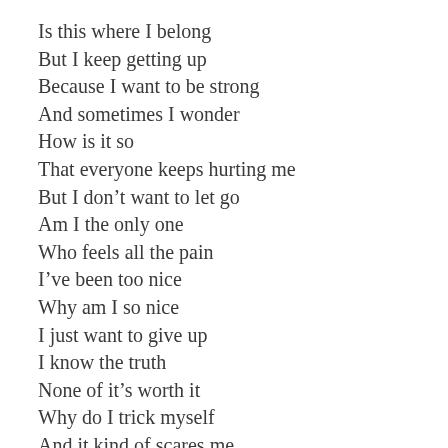Is this where I belong
But I keep getting up
Because I want to be strong
And sometimes I wonder
How is it so
That everyone keeps hurting me
But I don’t want to let go
Am I the only one
Who feels all the pain
I’ve been too nice
Why am I so nice
I just want to give up
I know the truth
None of it’s worth it
Why do I trick myself
And it kind of scares me
How much people lie